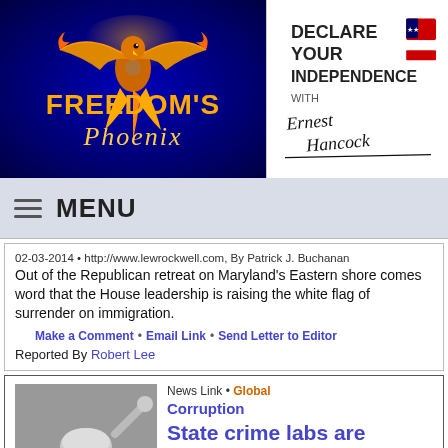[Figure (logo): Freedom's Phoenix logo with golden eagle on dark blue background]
[Figure (logo): Declare Your Independence with Ernest Hancock logo]
MENU
02-03-2014 • http://www.lewrockwell.com, By Patrick J. Buchanan
Out of the Republican retreat on Maryland's Eastern shore comes word that the House leadership is raising the white flag of surrender on immigration.
Make a Comment • Email Link • Send Letter to Editor
Reported By Robert Lee
News Link • Global
Corruption
State crime labs are incentivized to get false convictions